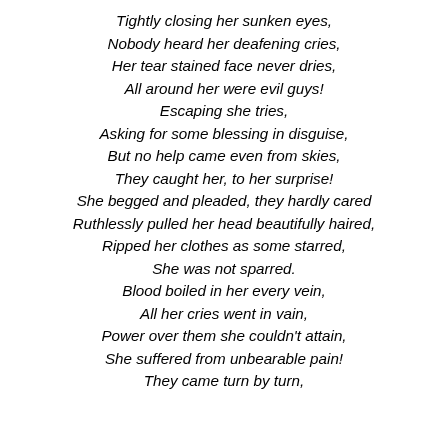Tightly closing her sunken eyes,
Nobody heard her deafening cries,
Her tear stained face never dries,
All around her were evil guys!
Escaping she tries,
Asking for some blessing in disguise,
But no help came even from skies,
They caught her, to her surprise!
She begged and pleaded, they hardly cared
Ruthlessly pulled her head beautifully haired,
Ripped her clothes as some starred,
She was not sparred.
Blood boiled in her every vein,
All her cries went in vain,
Power over them she couldn't attain,
She suffered from unbearable pain!
They came turn by turn,